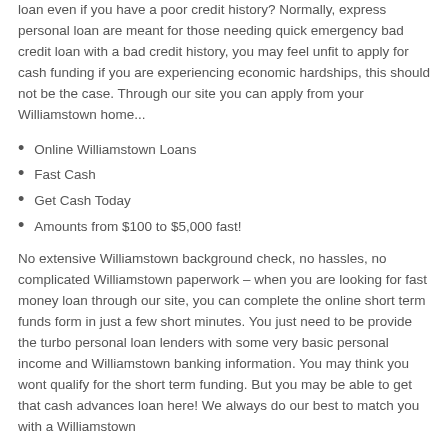loan even if you have a poor credit history? Normally, express personal loan are meant for those needing quick emergency bad credit loan with a bad credit history, you may feel unfit to apply for cash funding if you are experiencing economic hardships, this should not be the case. Through our site you can apply from your Williamstown home...
Online Williamstown Loans
Fast Cash
Get Cash Today
Amounts from $100 to $5,000 fast!
No extensive Williamstown background check, no hassles, no complicated Williamstown paperwork – when you are looking for fast money loan through our site, you can complete the online short term funds form in just a few short minutes. You just need to be provide the turbo personal loan lenders with some very basic personal income and Williamstown banking information. You may think you wont qualify for the short term funding. But you may be able to get that cash advances loan here! We always do our best to match you with a Williamstown